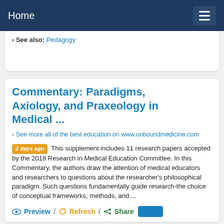Home
› See also: Pedagogy
Commentary: Paradigms, Axiology, and Praxeology in Medical ...
› See more all of the best education on www.unboundmedicine.com
2 days ago  This supplement includes 11 research papers accepted by the 2018 Research in Medical Education Committee. In this Commentary, the authors draw the attention of medical educators and researchers to questions about the researcher's philosophical paradigm. Such questions fundamentally guide research-the choice of conceptual frameworks, methods, and ...
Preview / Refresh / Share